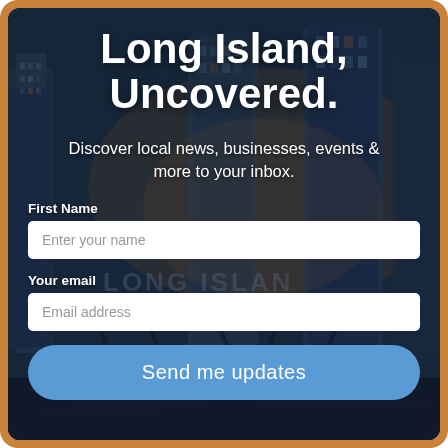Long Island, Uncovered.
Discover local news, businesses, events & more to your inbox.
First Name
Enter your name
Your email
Email address
Send me updates